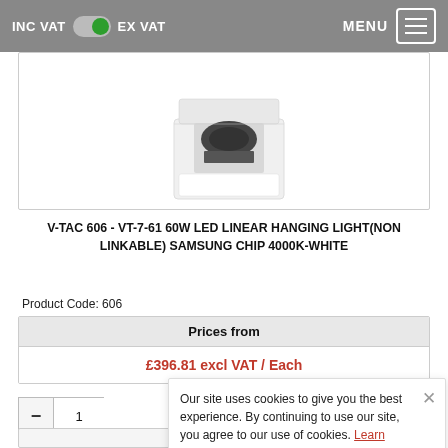INC VAT  EX VAT  MENU
[Figure (photo): Product image of V-TAC 606 LED linear hanging light in white box packaging, partially visible]
V-TAC 606 - VT-7-61 60W LED LINEAR HANGING LIGHT(NON LINKABLE) SAMSUNG CHIP 4000K-WHITE
Product Code: 606
| Prices from |
| --- |
| £396.81 excl VAT / Each |
Our site uses cookies to give you the best experience. By continuing to use our site, you agree to our use of cookies. Learn more.